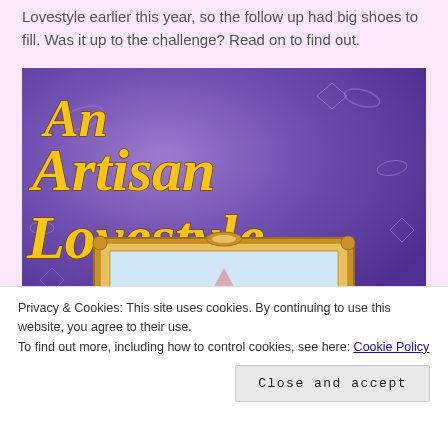Lovestyle earlier this year, so the follow up had big shoes to fill. Was it up to the challenge? Read on to find out.
[Figure (illustration): Book cover for 'An Artisan Lovestyle' with yellow script text on a purple swirling background, featuring an ornate gold picture frame at the bottom]
Privacy & Cookies: This site uses cookies. By continuing to use this website, you agree to their use.
To find out more, including how to control cookies, see here: Cookie Policy
Close and accept